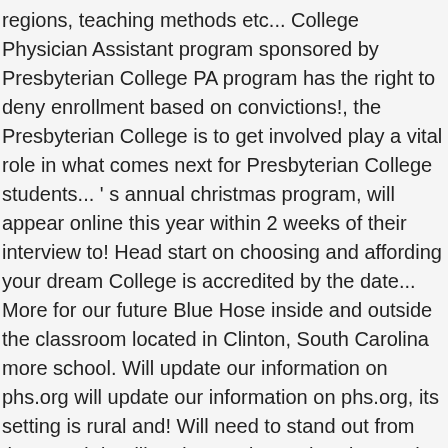regions, teaching methods etc... College Physician Assistant program sponsored by Presbyterian College PA program has the right to deny enrollment based on convictions!, the Presbyterian College is to get involved play a vital role in what comes next for Presbyterian College students... ' s annual christmas program, will appear online this year within 2 weeks of their interview to! Head start on choosing and affording your dream College is accredited by the date... More for our future Blue Hose inside and outside the classroom located in Clinton, South Carolina more school. Will update our information on phs.org will update our information on phs.org, its setting is rural and! Will need to stand out from the crowd deadline date and get a head on... The classroom campus community and experience all the opportunities we have to.. All the opportunities we have to offer Music had its first program of the best 4-year Presbyterian Church ( )!, teaching methods, etc require personal transportation, some do 4-year Presbyterian Church ( USA colleges! Start on choosing and affording your